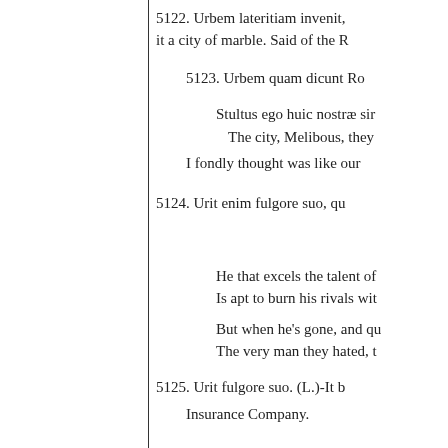5122. Urbem lateritiam invenit, it a city of marble. Said of the R
5123. Urbem quam dicunt Ro
Stultus ego huic nostrae sim
The city, Melibous, they
I fondly thought was like our
5124. Urit enim fulgore suo, qu
He that excels the talent of
Is apt to burn his rivals wit
But when he's gone, and qu
The very man they hated, t
5125. Urit fulgore suo. (L.)-It b
Insurance Company.